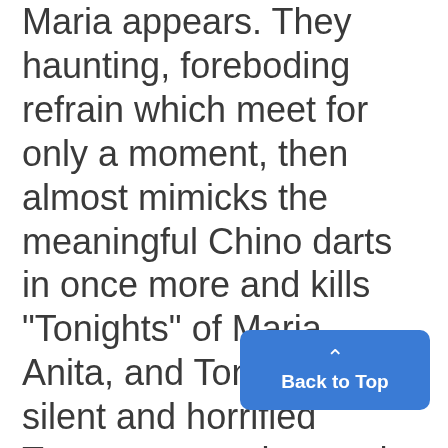Maria appears. They haunting, foreboding refrain which meet for only a moment, then almost mimicks the meaningful Chino darts in once more and kills "Tonights" of Maria, Anita, and Tony. There is silent and horrified Tony. cross-action on the stage as the The frenzied arrangement sets two stunned gangs are brought to- the mood for the remainder of the gether by the tragedy. -play. The action is quick: there orchestra fades out and the